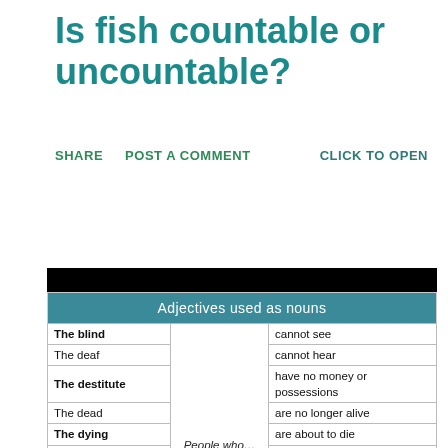Is fish countable or uncountable?
SHARE   POST A COMMENT   CLICK TO OPEN
|  |  |  |
| --- | --- | --- |
| The blind | People who... | cannot see |
| The deaf |  | cannot hear |
| The destitute |  | have no money or possessions |
| The dead |  | are no longer alive |
| The dying |  | are about to die |
| The elderly |  | are old |
| The faithful |  | belive in a religion |
| The homeless |  | have no home |
| The injured |  | have been injured in an accident |
| The insane |  | are mentally ill |